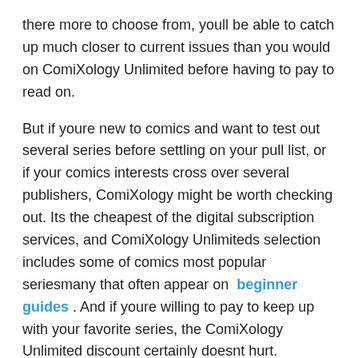there more to choose from, youll be able to catch up much closer to current issues than you would on ComiXology Unlimited before having to pay to read on.
But if youre new to comics and want to test out several series before settling on your pull list, or if your comics interests cross over several publishers, ComiXology might be worth checking out. Its the cheapest of the digital subscription services, and ComiXology Unlimiteds selection includes some of comics most popular seriesmany that often appear on beginner guides . And if youre willing to pay to keep up with your favorite series, the ComiXology Unlimited discount certainly doesnt hurt.
Recommended Reading: How To Combine Gift Cards
What If I Want To Read Manga